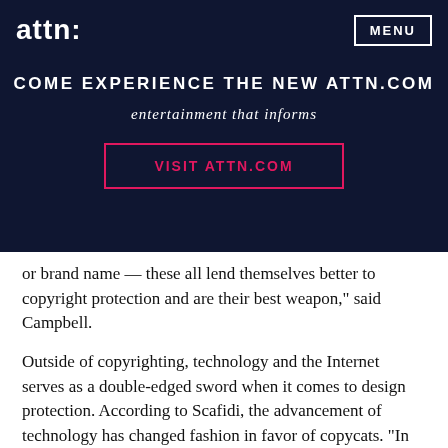attn:
COME EXPERIENCE THE NEW ATTN.COM
entertainment that informs
VISIT ATTN.COM
or brand name — these all lend themselves better to copyright protection and are their best weapon," said Campbell.
Outside of copyrighting, technology and the Internet serves as a double-edged sword when it comes to design protection. According to Scafidi, the advancement of technology has changed fashion in favor of copycats. "In the '60s, it took a long time to make